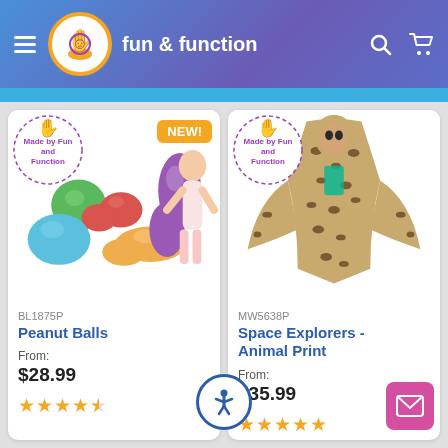[Figure (logo): Fun & Function website header with logo, hamburger menu, search and cart icons on a blue-purple gradient background]
[Figure (photo): Colorful peanut-shaped sensory balls with a girl hugging a large purple one. NEW! badge in orange. Made by Fun and Function badge.]
BL1875P
Peanut Balls
From:
$28.99
[Figure (other): 4.5 star rating (orange stars)]
[Figure (photo): Child wearing leopard-print Space Explorers wearable blanket with hood. Made by Fun and Function badge.]
MW5638P
Space Explorers - Animal Print
From:
$35.99
[Figure (other): 5 star rating (orange stars)]